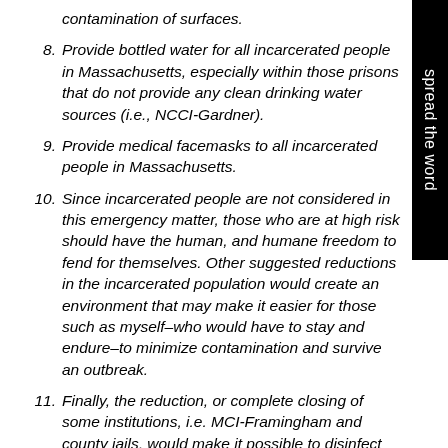contamination of surfaces.
8. Provide bottled water for all incarcerated people in Massachusetts, especially within those prisons that do not provide any clean drinking water sources (i.e., NCCI-Gardner).
9. Provide medical facemasks to all incarcerated people in Massachusetts.
10. Since incarcerated people are not considered in this emergency matter, those who are at high risk should have the human, and humane freedom to fend for themselves. Other suggested reductions in the incarcerated population would create an environment that may make it easier for those such as myself–who would have to stay and endure–to minimize contamination and survive an outbreak.
11. Finally, the reduction, or complete closing of some institutions, i.e. MCI-Framingham and county jails, would make it possible to disinfect these institutions,